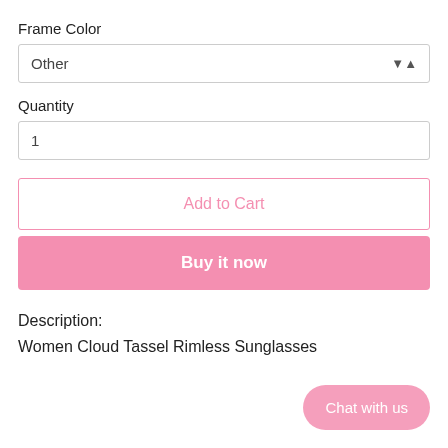Frame Color
Other
Quantity
1
Add to Cart
Buy it now
Description:
Women Cloud Tassel Rimless Sunglasses
Chat with us